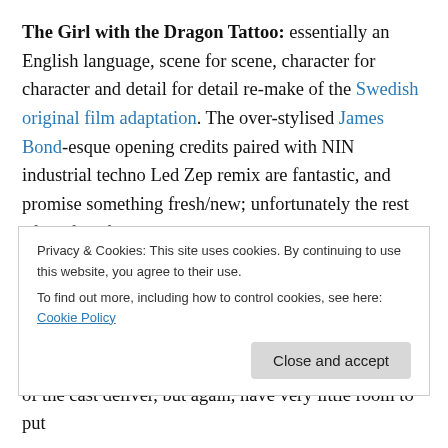The Girl with the Dragon Tattoo: essentially an English language, scene for scene, character for character and detail for detail re-make of the Swedish original film adaptation. The over-stylised James Bond-esque opening credits paired with NIN industrial techno Led Zep remix are fantastic, and promise something fresh/new; unfortunately the rest of the film fails to deliver as it copies almost everything from the original. Most annoyingly, it's still set in Sweden and full of Europeans talking in 'svee-deesh' – it's like watching a professional dubbing of the original. Character wise, Daniel Craig is good, but Nyqvist
Privacy & Cookies: This site uses cookies. By continuing to use this website, you agree to their use.
To find out more, including how to control cookies, see here: Cookie Policy
of the cast deliver, but again, have very little room to put